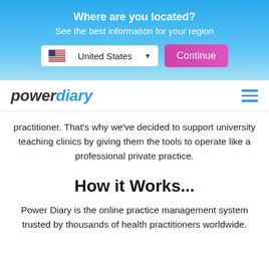Where are you located?
See the best information for your region
[Figure (screenshot): Location selector UI with United States dropdown and Continue button]
[Figure (logo): Power Diary logo with hamburger menu icon]
practitioner. That’s why we’ve decided to support university teaching clinics by giving them the tools to operate like a professional private practice.
How it Works...
Power Diary is the online practice management system trusted by thousands of health practitioners worldwide.